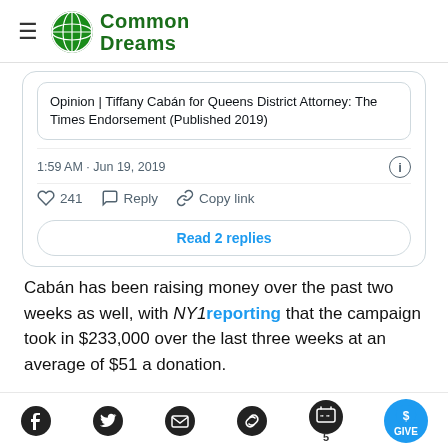Common Dreams
[Figure (screenshot): Embedded tweet card showing a link preview: 'Opinion | Tiffany Cabán for Queens District Attorney: The Times Endorsement (Published 2019)', timestamp '1:59 AM · Jun 19, 2019', 241 likes, Reply, Copy link actions, and a 'Read 2 replies' button.]
Cabán has been raising money over the past two weeks as well, with NY1 reporting that the campaign took in $233,000 over the last three weeks at an average of $51 a donation.
Facebook, Twitter, Email, Copy link, Quotes (5), GIVE